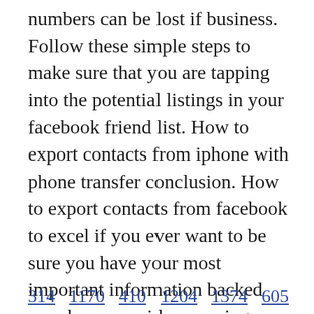numbers can be lost if business. Follow these simple steps to make sure that you are tapping into the potential listings in your facebook friend list. How to export contacts from iphone with phone transfer conclusion. How to export contacts from facebook to excel if you ever want to be sure you have your most important information backed up, please consider securing your social networking information too. Then, follow the prompts to import your contacts from facebook.
314   1170   410   1204   1374   605